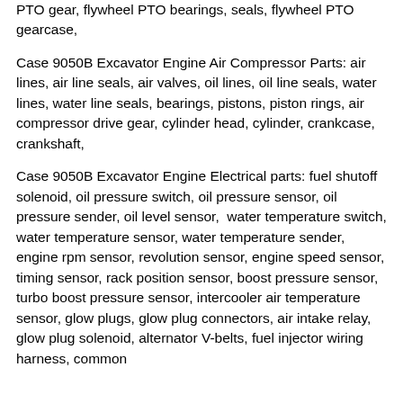PTO gear, flywheel PTO bearings, seals, flywheel PTO gearcase,
Case 9050B Excavator Engine Air Compressor Parts: air lines, air line seals, air valves, oil lines, oil line seals, water lines, water line seals, bearings, pistons, piston rings, air compressor drive gear, cylinder head, cylinder, crankcase, crankshaft,
Case 9050B Excavator Engine Electrical parts: fuel shutoff solenoid, oil pressure switch, oil pressure sensor, oil pressure sender, oil level sensor, water temperature switch, water temperature sensor, water temperature sender, engine rpm sensor, revolution sensor, engine speed sensor, timing sensor, rack position sensor, boost pressure sensor, turbo boost pressure sensor, intercooler air temperature sensor, glow plugs, glow plug connectors, air intake relay, glow plug solenoid, alternator V-belts, fuel injector wiring harness, common